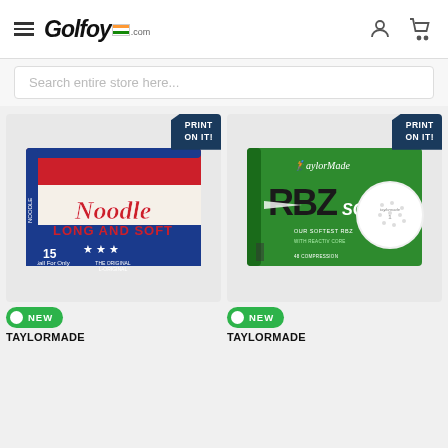Golfoy.com navigation header with hamburger menu, logo, user icon, and cart icon
Search entire store here...
[Figure (photo): Noodle Long and Soft golf balls product box, red white and blue design with 15 balls, PRINT ON IT badge]
[Figure (photo): TaylorMade RBZ Soft golf balls product box, green design with golf ball image, PRINT ON IT badge]
NEW
TAYLORMADE
NEW
TAYLORMADE